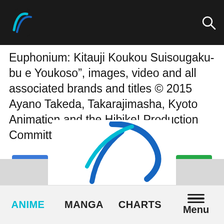Navigation bar with logo and search icon
Euphonium: Kitauji Koukou Suisougaku-bu e Youkoso”, images, video and all associated brands and titles © 2015 Ayano Takeda, Takarajimasha, Kyoto Animation and the Hibike! Production Committee
[Figure (infographic): Row of five social share buttons: email (@), Twitter bird, Facebook (f), Pinterest (P), WhatsApp (phone)]
[Figure (logo): Large stylized blue curved arrow/slash logo watermark in center-bottom area]
ANIME   MANGA   CHARTS   Menu